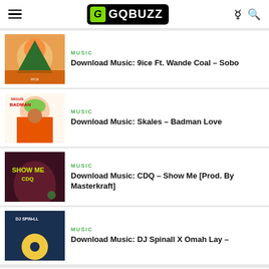GQBUZZ
MUSIC
Download Music: 9ice Ft. Wande Coal – Sobo
MUSIC
Download Music: Skales – Badman Love
MUSIC
Download Music: CDQ – Show Me [Prod. By Masterkraft]
MUSIC
Download Music: DJ Spinall X Omah Lay –